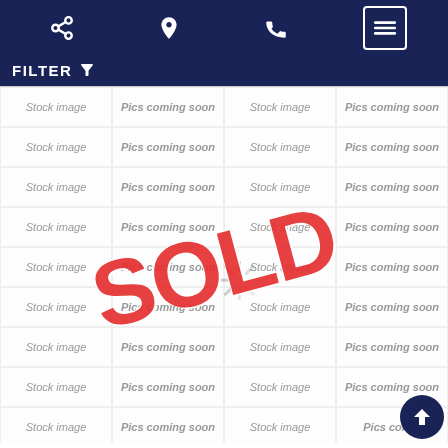Navigation bar with share, location, phone, and menu icons
FILTER
[Figure (screenshot): A 4-column grid of placeholder cells alternating 'Stock image' and 'Pics coming soon' repeated across 9 rows, overlaid with a large red 'SOLD' stamp rotated diagonally and a loading spinner icon. A dark blue scroll-to-top button appears at bottom right.]